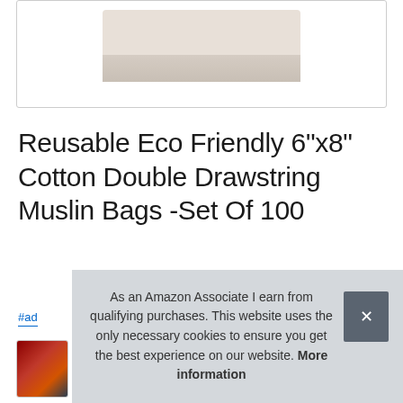[Figure (photo): Partial view of a white/cream cotton muslin drawstring bag product image in a bordered box]
Reusable Eco Friendly 6"x8" Cotton Double Drawstring Muslin Bags -Set Of 100
#ad
[Figure (photo): Small thumbnail image showing a dark reddish bowl or food item]
As an Amazon Associate I earn from qualifying purchases. This website uses the only necessary cookies to ensure you get the best experience on our website. More information